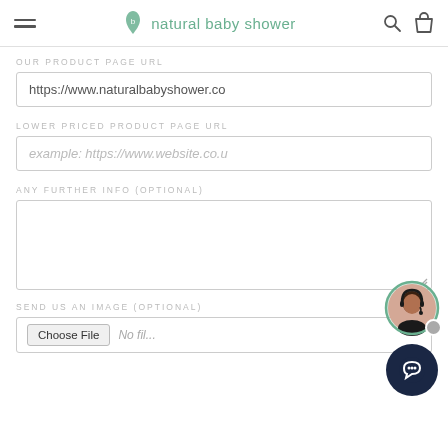natural baby shower
OUR PRODUCT PAGE URL
https://www.naturalbabyshower.co
LOWER PRICED PRODUCT PAGE URL
example: https://www.website.co.u
ANY FURTHER INFO (OPTIONAL)
SEND US AN IMAGE (OPTIONAL)
Choose File  No file chosen